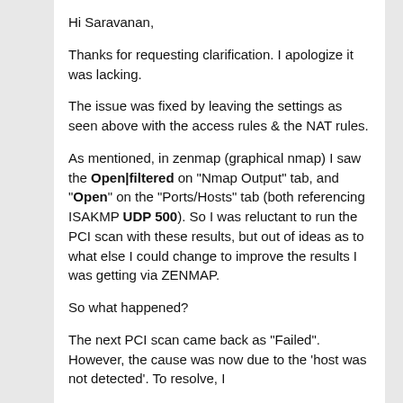Hi Saravanan,
Thanks for requesting clarification. I apologize it was lacking.
The issue was fixed by leaving the settings as seen above with the access rules & the NAT rules.
As mentioned, in zenmap (graphical nmap) I saw the Open|filtered on "Nmap Output" tab, and "Open" on the "Ports/Hosts" tab (both referencing ISAKMP UDP 500). So I was reluctant to run the PCI scan with these results, but out of ideas as to what else I could change to improve the results I was getting via ZENMAP.
So what happened?
The next PCI scan came back as "Failed". However, the cause was now due to the 'host was not detected'. To resolve, I